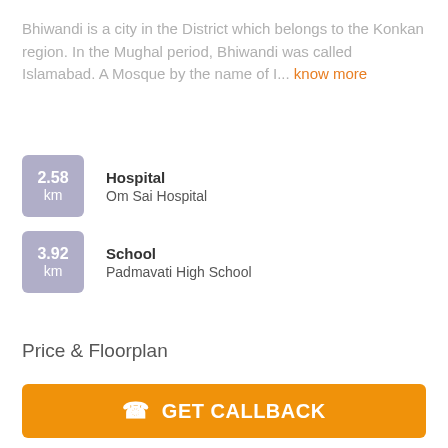Bhiwandi is a city in the District which belongs to the Konkan region. In the Mughal period, Bhiwandi was called Islamabad. A Mosque by the name of I... know more
2.58 km — Hospital — Om Sai Hospital
3.92 km — School — Padmavati High School
Price & Floorplan
2BHK+2T (1,000 sq ft)    Price On Request
GET CALLBACK